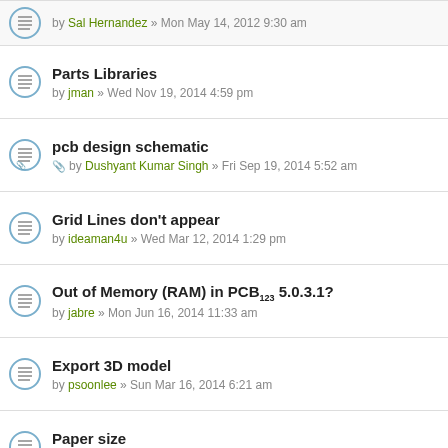by Sal Hernandez » Mon May 14, 2012 9:30 am
Parts Libraries
by jman » Wed Nov 19, 2014 4:59 pm
pcb design schematic
by Dushyant Kumar Singh » Fri Sep 19, 2014 5:52 am
Grid Lines don't appear
by ideaman4u » Wed Mar 12, 2014 1:29 pm
Out of Memory (RAM) in PCB123 5.0.3.1?
by jabre » Mon Jun 16, 2014 11:33 am
Export 3D model
by psoonlee » Sun Mar 16, 2014 6:21 am
Paper size
by trace twiddler » Fri Feb 07, 2014 9:39 am
Your browser settings do not allow cross-site tracking for advertising. Click on this page to allow AdRoll to use cross-site tracking to tailor ads to you. Learn more or opt out of this AdRoll tracking by clicking here. This message only appears once.